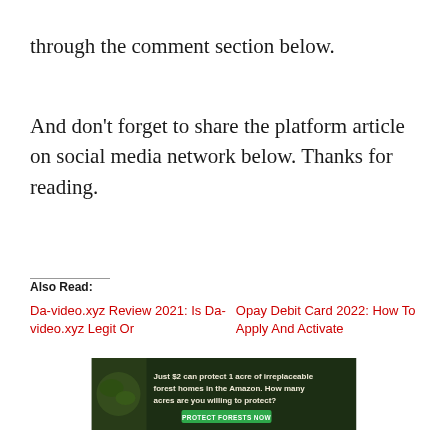through the comment section below.
And don't forget to share the platform article on social media network below. Thanks for reading.
Also Read:
Da-video.xyz Review 2021: Is Da-video.xyz Legit Or
Opay Debit Card 2022: How To Apply And Activate
[Figure (infographic): Advertisement banner: Just $2 can protect 1 acre of irreplaceable forest homes in the Amazon. How many acres are you willing to protect? PROTECT FORESTS NOW]